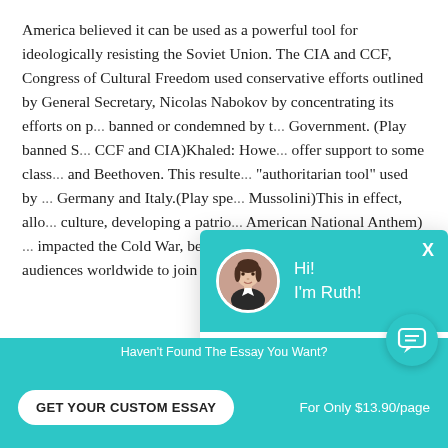America believed it can be used as a powerful tool for ideologically resisting the Soviet Union. The CIA and CCF, Congress of Cultural Freedom used conservative efforts outlined by General Secretary, Nicolas Nabokov by concentrating its efforts on p[lays] banned or condemned by t[he Soviet] Government. (Play banned S[...] CCF and CIA)Khaled: Howe[ver,...] offer support to some class[ics like Bach] and Beethoven. This resulte[d in...] "authoritarian tool" used by [Nazi] Germany and Italy.(Play spe[ech by] Mussolini)This in effect, allo[wed] culture, developing a patrio[tic American National Anthem) [which] impacted the Cold War, because they were able to enc[ourage] audiences worldwide to join their modernist culture.
[Figure (screenshot): Chat popup with teal header showing avatar of woman named Ruth. Header says 'Hi! I'm Ruth!'. Body has text 'Would you like to get a custom essay? How about receiving a customized one?' with a bold underlined link 'Check it out'. Close X button in top right.]
Haven't Found The Essay You Want?
GET YOUR CUSTOM ESSAY    For Only $13.90/page